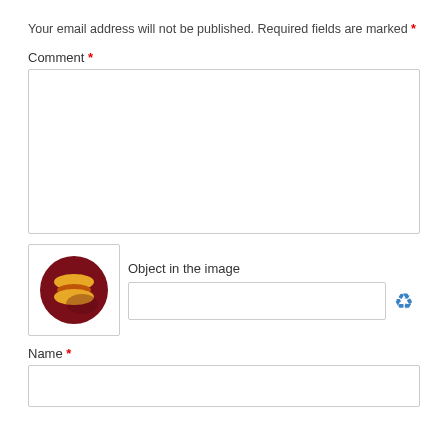Your email address will not be published. Required fields are marked *
Comment *
[Figure (other): Empty comment textarea form field]
[Figure (other): CAPTCHA image showing a hot dog icon on dark red circle background, with Object in the image label, text input field, and refresh icon]
Name *
[Figure (other): Empty name input form field]